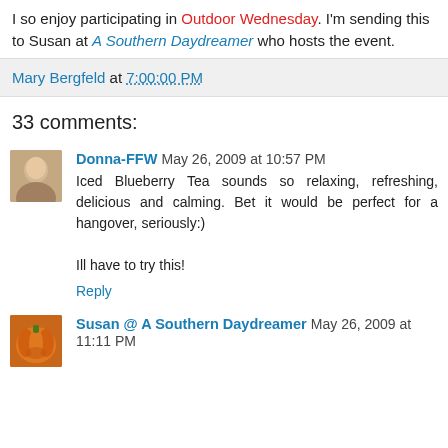I so enjoy participating in Outdoor Wednesday. I'm sending this to Susan at A Southern Daydreamer who hosts the event.
Mary Bergfeld at 7:00:00 PM
33 comments:
Donna-FFW May 26, 2009 at 10:57 PM
Iced Blueberry Tea sounds so relaxing, refreshing, delicious and calming. Bet it would be perfect for a hangover, seriously:)

Ill have to try this!
Reply
Susan @ A Southern Daydreamer May 26, 2009 at 11:11 PM